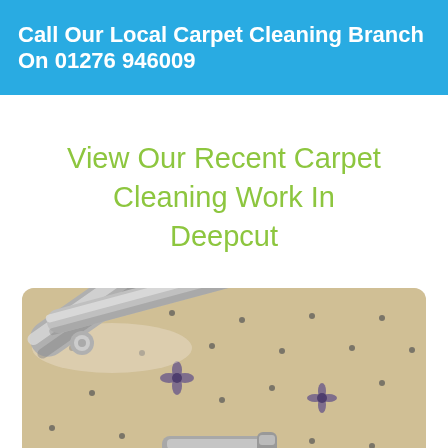Call Our Local Carpet Cleaning Branch On 01276 946009
View Our Recent Carpet Cleaning Work In Deepcut
[Figure (photo): Close-up photo of a carpet cleaning machine nozzle/wand on a beige patterned carpet with small floral motifs]